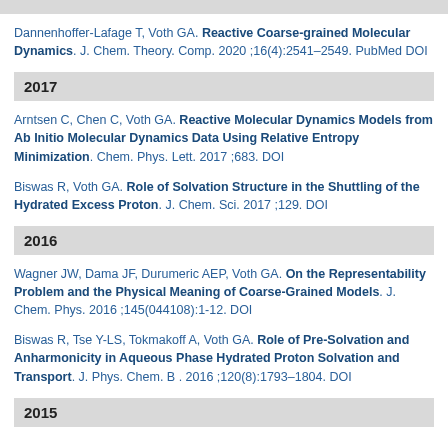Dannenhoffer-Lafage T, Voth GA. Reactive Coarse-grained Molecular Dynamics. J. Chem. Theory. Comp. 2020 ;16(4):2541–2549. PubMed DOI
2017
Arntsen C, Chen C, Voth GA. Reactive Molecular Dynamics Models from Ab Initio Molecular Dynamics Data Using Relative Entropy Minimization. Chem. Phys. Lett. 2017 ;683. DOI
Biswas R, Voth GA. Role of Solvation Structure in the Shuttling of the Hydrated Excess Proton. J. Chem. Sci. 2017 ;129. DOI
2016
Wagner JW, Dama JF, Durumeric AEP, Voth GA. On the Representability Problem and the Physical Meaning of Coarse-Grained Models. J. Chem. Phys. 2016 ;145(044108):1-12. DOI
Biswas R, Tse Y-LS, Tokmakoff A, Voth GA. Role of Pre-Solvation and Anharmonicity in Aqueous Phase Hydrated Proton Solvation and Transport. J. Phys. Chem. B . 2016 ;120(8):1793–1804. DOI
2015